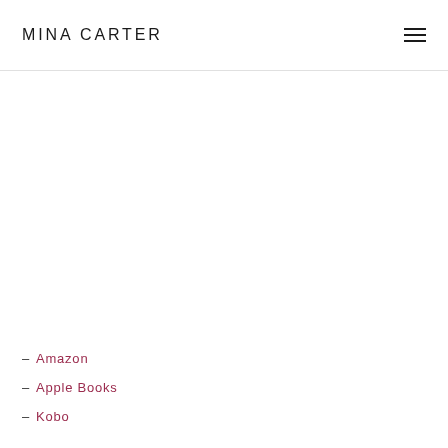MINA CARTER
– Amazon
– Apple Books
– Kobo